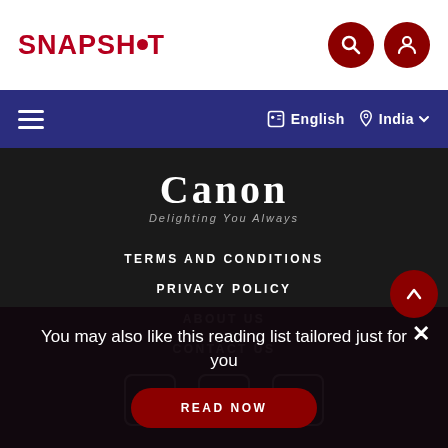SNAPSHOT
[Figure (logo): Canon - Delighting You Always logo in white on dark background]
TERMS AND CONDITIONS
PRIVACY POLICY
ABOUT US
CONTACT US
[Figure (infographic): Social media icons: Facebook, YouTube, Instagram]
You may also like this reading list tailored just for you
READ NOW